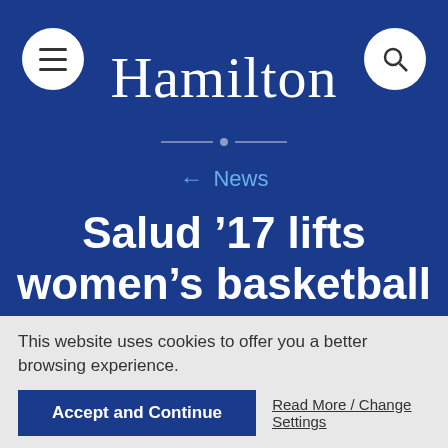Hamilton
← News
Salud '17 lifts women's basketball to win over Rochester
This website uses cookies to offer you a better browsing experience.
Accept and Continue
Read More / Change Settings